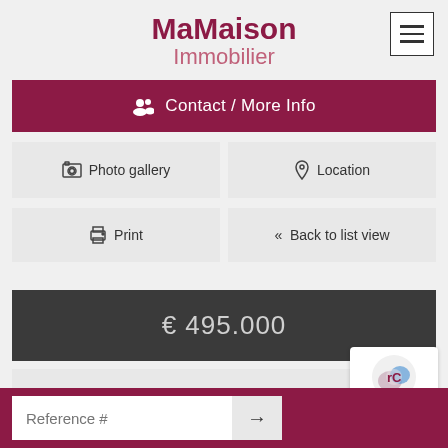MaMaison Immobilier
Contact / More Info
Photo gallery
Location
Print
« Back to list view
€ 495.000
Reference : MM4103
Reference #